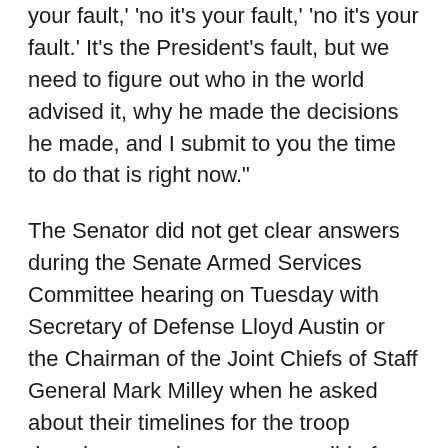your fault,' 'no it's your fault,' 'no it's your fault.' It's the President's fault, but we need to figure out who in the world advised it, why he made the decisions he made, and I submit to you the time to do that is right now."
The Senator did not get clear answers during the Senate Armed Services Committee hearing on Tuesday with Secretary of Defense Lloyd Austin or the Chairman of the Joint Chiefs of Staff General Mark Milley when he asked about their timelines for the troop drawdown or who was responsible for what went wrong. He concluded by calling on both of them to resign over this crisis.
Senator Hawley has gone to the Senate Floor multiple times, as recently as this Tuesday, to talk about the failed withdrawal and remains committed to forcing Senators to take individual votes on Biden nominees for the State